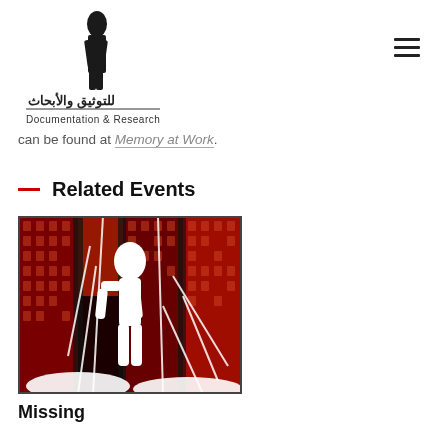[Figure (logo): Documentation & Research organization logo with Arabic text and stylized figure illustration]
can be found at Memory at Work.
— Related Events
[Figure (photo): Artistic image showing a white silhouette of a standing human figure against a dark red and black background filled with small photographs of faces, with white linear scratches overlaid]
Missing